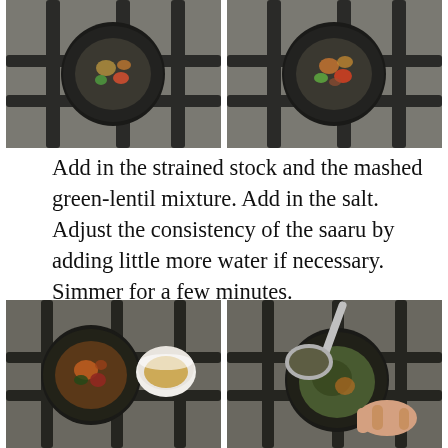[Figure (photo): Two side-by-side photos of a frying pan on a gas stove with cooking ingredients, viewed from above. Left photo shows a pan with vegetables, right photo shows a similar pan setup.]
Add in the strained stock and the mashed green-lentil mixture. Add in the salt. Adjust the consistency of the saaru by adding little more water if necessary. Simmer for a few minutes.
[Figure (photo): Two side-by-side photos of cooking process. Left photo shows a small black pot on a gas stove with a white bowl of broth being added. Right photo shows the same pot with a ladle stirring a green mashed mixture into the pot, with a hand visible.]